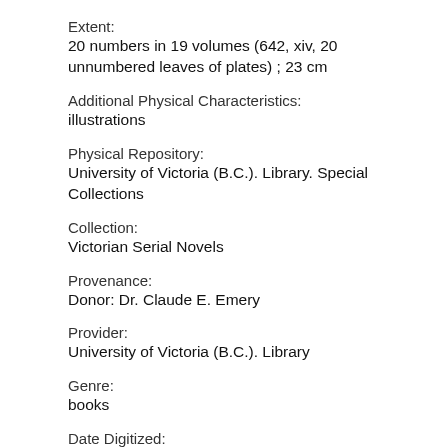Extent:
20 numbers in 19 volumes (642, xiv, 20 unnumbered leaves of plates) ; 23 cm
Additional Physical Characteristics:
illustrations
Physical Repository:
University of Victoria (B.C.). Library. Special Collections
Collection:
Victorian Serial Novels
Provenance:
Donor: Dr. Claude E. Emery
Provider:
University of Victoria (B.C.). Library
Genre:
books
Date Digitized:
2010-08-31
Technical Note: